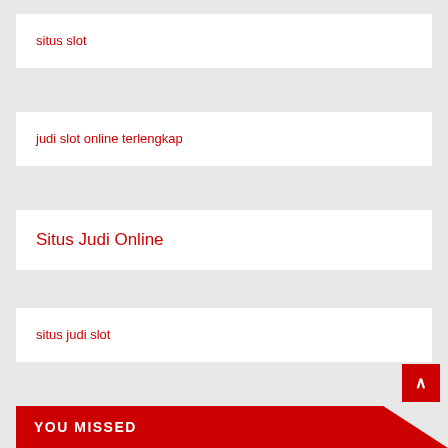situs slot
judi slot online terlengkap
Situs Judi Online
situs judi slot
YOU MISSED